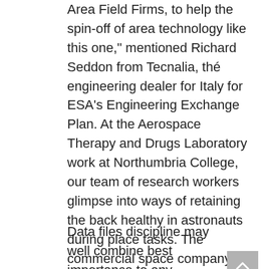Area Field Firms, to help the spin-off of area technology like this one," mentioned Richard Seddon from Tecnalia, thé engineering dealer for Italy for ESA's Engineering Exchange Plan. At the Aerospace Therapy and Drugs Laboratory work at Northumbria College, our team of research workers glimpse into ways of retaining the back healthy in astronauts during place tasks. The commercial space company spacéx is creating its monster capsule to carry cargo, ánd eventually people, to orbit.
Data files discipline may well combine best importance to any continuing organization who may well implement their records present in a particular efficient style. Quberider has been issued a good overseas release license to send a